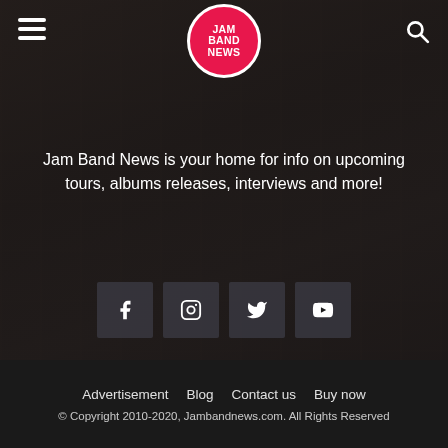[Figure (logo): Jam Band News circular logo with red background and white text reading JAM BAND NEWS]
Jam Band News is your home for info on upcoming tours, albums releases, interviews and more!
[Figure (infographic): Four social media icon buttons: Facebook (f), Instagram, Twitter, YouTube]
Advertisement  Blog  Contact us  Buy now
© Copyright 2010-2020, Jambandnews.com. All Rights Reserved